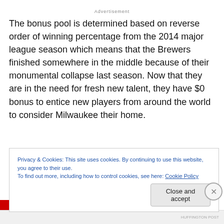Advertisement
The bonus pool is determined based on reverse order of winning percentage from the 2014 major league season which means that the Brewers finished somewhere in the middle because of their monumental collapse last season. Now that they are in the need for fresh new talent, they have $0 bonus to entice new players from around the world to consider Milwaukee their home.
Privacy & Cookies: This site uses cookies. By continuing to use this website, you agree to their use.
To find out more, including how to control cookies, see here: Cookie Policy
Close and accept